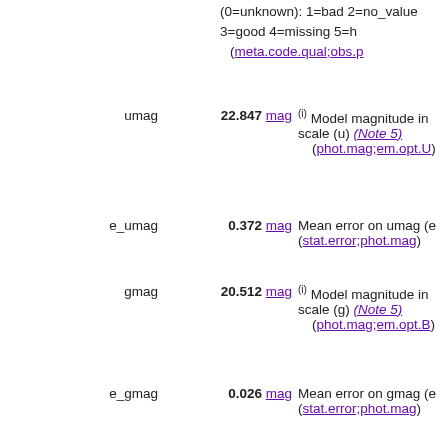(0=unknown): 1=bad 2=no_value 3=good 4=missing 5=h (meta.code.qual;obs.p
umag  22.847 mag  (i) Model magnitude in scale (u) (Note 5) (phot.mag;em.opt.U)
e_umag  0.372 mag  Mean error on umag (e) (stat.error;phot.mag)
gmag  20.512 mag  (i) Model magnitude in scale (g) (Note 5) (phot.mag;em.opt.B)
e_gmag  0.026 mag  Mean error on gmag (e) (stat.error;phot.mag)
rmag  19.020 mag  (i) Model magnitude in scale (r) (Note 5) (phot.mag;em.opt.R)
e_rmag  0.012 mag  Mean error on rmag (e) (stat.error;phot.mag)
imag  17.986 mag  (i) Model magnitude in scale (i) (Note 5) (phot.mag;em.opt.I)
e_imag  0.008 mag  Mean error on imag (e) (stat.error;phot.mag)